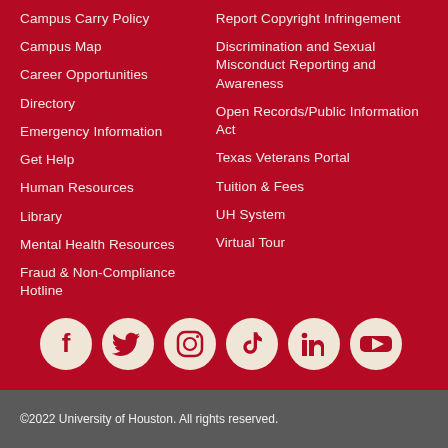Campus Carry Policy
Campus Map
Career Opportunities
Directory
Emergency Information
Get Help
Human Resources
Library
Mental Health Resources
Fraud & Non-Compliance Hotline
Report Copyright Infringement
Discrimination and Sexual Misconduct Reporting and Awareness
Open Records/Public Information Act
Texas Veterans Portal
Tuition & Fees
UH System
Virtual Tour
[Figure (infographic): Row of 6 social media icons (Facebook, Twitter, Instagram, TikTok, LinkedIn, YouTube) displayed as white icons on cream/beige circular backgrounds]
©2022 University of Houston. All rights reserved.